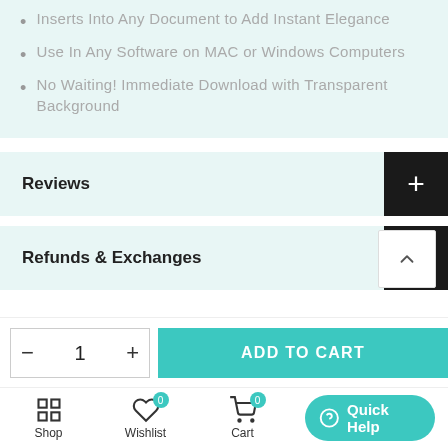Inserts Into Any Document to Add Instant Elegance
Use In Any Software on MAC or Windows Computers
No Waiting! Immediate Download with Transparent Background
Reviews
Refunds & Exchanges
ADD TO CART
1
Shop
Wishlist
Cart
Quick Help